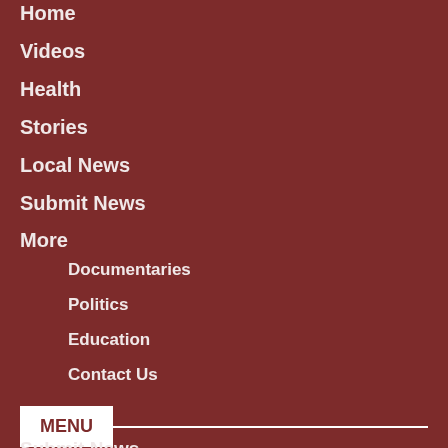Home
Videos
Health
Stories
Local News
Submit News
More
Documentaries
Politics
Education
Contact Us
MENU
Submit News
Subscribe
Contact Us
Log In
Terms of Service